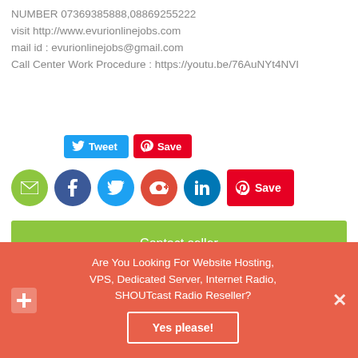NUMBER 07369385888,08869255222
visit http://www.evurionlinejobs.com
mail id : evurionlinejobs@gmail.com
Call Center Work Procedure : https://youtu.be/76AuNYt4NVI
[Figure (screenshot): Social share buttons row 1: Tweet button (blue) and Save/Pinterest button (red)]
[Figure (screenshot): Social share icons row 2: email (green), Facebook (dark blue), Twitter (blue), Google+ (red-orange), LinkedIn (dark blue), Pinterest Save button (red)]
Contact seller
Share
Are You Looking For Website Hosting, VPS, Dedicated Server, Internet Radio, SHOUTcast Radio Reseller?
Yes please!